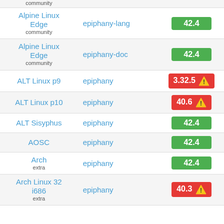| Distribution | Package | Version |
| --- | --- | --- |
| Alpine Linux Edge
community | epiphany-lang | 42.4 |
| Alpine Linux Edge
community | epiphany-doc | 42.4 |
| ALT Linux p9 | epiphany | 3.32.5 ⚠ |
| ALT Linux p10 | epiphany | 40.6 ⚠ |
| ALT Sisyphus | epiphany | 42.4 |
| AOSC | epiphany | 42.4 |
| Arch
extra | epiphany | 42.4 |
| Arch Linux 32
i686
extra | epiphany | 40.3 ⚠ |